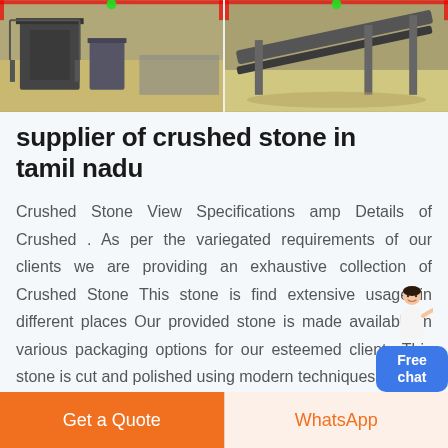[Figure (photo): Two construction/mining site photos side by side showing crushing equipment and conveyors]
supplier of crushed stone in tamil nadu
Crushed Stone View Specifications amp Details of Crushed . As per the variegated requirements of our clients we are providing an exhaustive collection of Crushed Stone This stone is find extensive usage in different places Our provided stone is made available in various packaging options for our esteemed clients This stone is cut and polished using modern techniques by